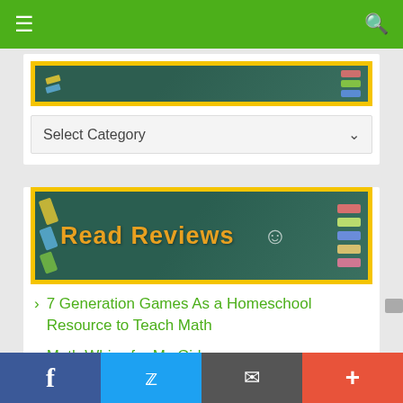[Figure (screenshot): Green navigation bar with hamburger menu and search icon]
[Figure (photo): Partial chalkboard image with yellow border at top of first card]
Select Category
[Figure (photo): Chalkboard image with yellow border showing 'Read Reviews' text in orange]
7 Generation Games As a Homeschool Resource to Teach Math
Math Whizz for My Girls
[Figure (screenshot): Bottom social share bar with Facebook, Twitter, email, and plus buttons]